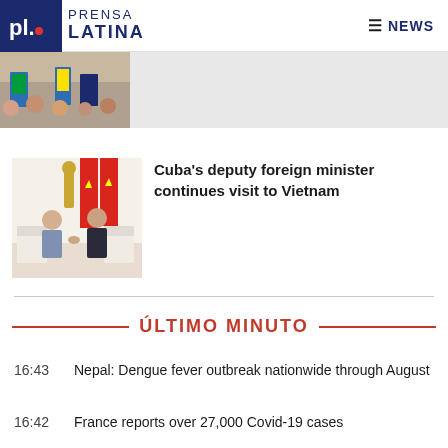Prensa Latina NEWS
[Figure (photo): Partial view of a top news article image showing people with Brazilian flags]
[Figure (photo): Photo of Cuba's deputy foreign minister meeting with Vietnamese official, shaking hands in a formal room with Vietnamese flags]
Cuba's deputy foreign minister continues visit to Vietnam
ÚLTIMO MINUTO
16:43  Nepal: Dengue fever outbreak nationwide through August
16:42  France reports over 27,000 Covid-19 cases